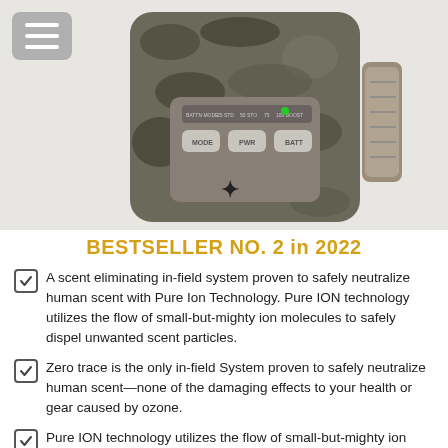[Figure (photo): Trail camera with camo pattern texture shown from back/side angle, displaying buttons labeled MODE, PWR, BATT and indicator lights. A hamburger menu button overlay is in top-left corner.]
BESTSELLER NO. 2 in 2022
A scent eliminating in-field system proven to safely neutralize human scent with Pure Ion Technology. Pure ION technology utilizes the flow of small-but-mighty ion molecules to safely dispel unwanted scent particles.
Zero trace is the only in-field System proven to safely neutralize human scent—none of the damaging effects to your health or gear caused by ozone.
Pure ION technology utilizes the flow of small-but-mighty ion molecules to safely dispel unwanted scent particles. Tribrach texture